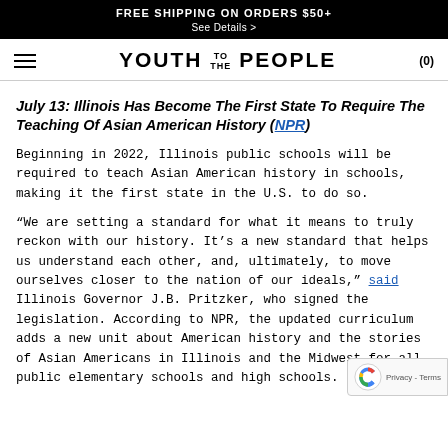FREE SHIPPING ON ORDERS $50+
See Details >
YOUTH TO THE PEOPLE
July 13: Illinois Has Become The First State To Require The Teaching Of Asian American History (NPR)
Beginning in 2022, Illinois public schools will be required to teach Asian American history in schools, making it the first state in the U.S. to do so.
“We are setting a standard for what it means to truly reckon with our history. It’s a new standard that helps us understand each other, and, ultimately, to move ourselves closer to the nation of our ideals,” said Illinois Governor J.B. Pritzker, who signed the legislation. According to NPR, the updated curriculum adds a new unit about American history and the stories of Asian Americans in Illinois and the Midwest for all public elementary schools and high schools.